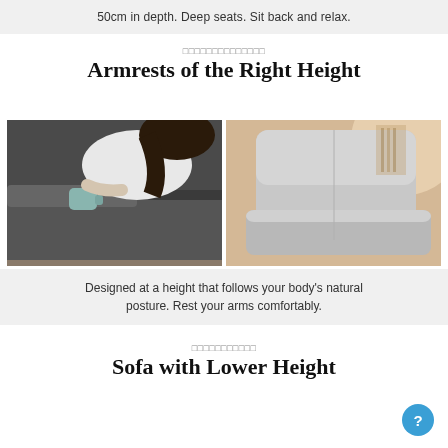50cm in depth. Deep seats. Sit back and relax.
□□□□□□□□□□□□□□
Armrests of the Right Height
[Figure (photo): Woman sitting on a dark sofa holding a mug, with the sofa armrest visible]
[Figure (photo): Close-up of a light grey sofa armrest and back cushion]
Designed at a height that follows your body's natural posture. Rest your arms comfortably.
□□□□□□□□□□□
Sofa with Lower Height